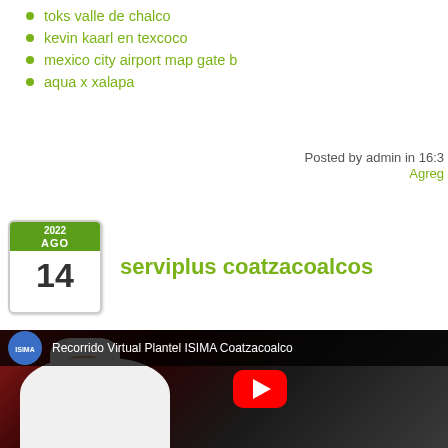toks valle de chalco
kevin kaarl en texcoco
mexico city airport map gate b
aqua x xalapa
Posted by admin in 16:3
Agreg
serviplus coatzacoalcos
[Figure (screenshot): YouTube video thumbnail showing a chef in white uniform and toque, with a red and dark background. Title bar reads: Recorrido Virtual Plantel ISIMA Coatzacoalco. YouTube play button visible in center.]